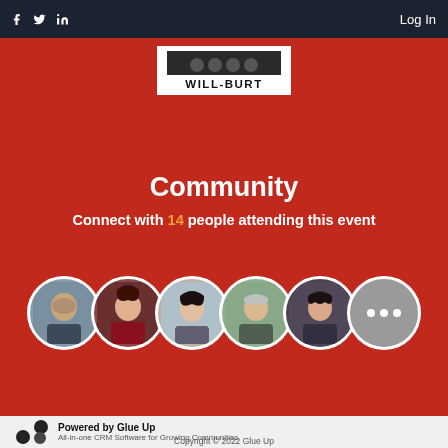f  Twitter  in   Log In
[Figure (logo): WILL-BURT logo in white box on red background]
Community
Connect with 14 people attending this event
[Figure (illustration): Row of 5 circular avatar photos plus a grey circle with three dots indicating more attendees]
Powered by Glue Up
All-in-one CRM Software for Growing Communities
Copyright © 2022 Glue Up